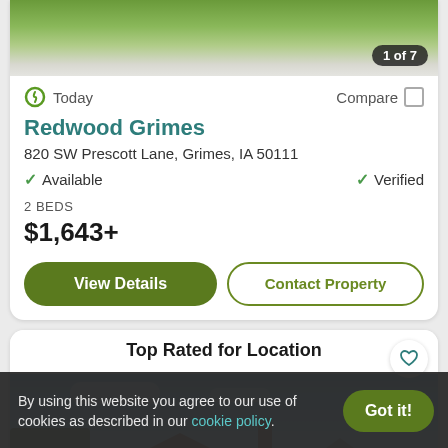[Figure (photo): Property listing photo showing green lawn and driveway, partially cropped with '1 of 7' badge overlay]
Today
Compare
Redwood Grimes
820 SW Prescott Lane, Grimes, IA 50111
Available
Verified
2 BEDS
$1,643+
View Details
Contact Property
[Figure (photo): Second property listing photo showing a house with chimney against a blue sky with trees — labeled 'Top Rated for Location']
Top Rated for Location
By using this website you agree to our use of cookies as described in our cookie policy.
Got it!